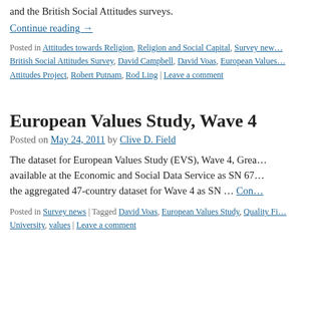and the British Social Attitudes surveys.
Continue reading →
Posted in Attitudes towards Religion, Religion and Social Capital, Survey news | Tagged British Social Attitudes Survey, David Campbell, David Voas, European Values … Attitudes Project, Robert Putnam, Rod Ling | Leave a comment
European Values Study, Wave 4
Posted on May 24, 2011 by Clive D. Field
The dataset for European Values Study (EVS), Wave 4, Grea… available at the Economic and Social Data Service as SN 67… the aggregated 47-country dataset for Wave 4 as SN … Con…
Posted in Survey news | Tagged David Voas, European Values Study, Quality Fi… University, values | Leave a comment